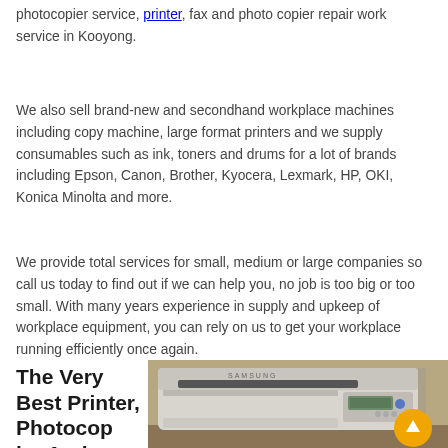We are a business committed to offering you the very best photocopier service, printer, fax and photo copier repair work service in Kooyong.
We also sell brand-new and secondhand workplace machines including copy machine, large format printers and we supply consumables such as ink, toners and drums for a lot of brands including Epson, Canon, Brother, Kyocera, Lexmark, HP, OKI, Konica Minolta and more.
We provide total services for small, medium or large companies so call us today to find out if we can help you, no job is too big or too small. With many years experience in supply and upkeep of workplace equipment, you can rely on us to get your workplace running efficiently once again.
The Very Best Printer, Photocopier And
[Figure (photo): Close-up photo of a Samsung multifunction printer/photocopier on a desk, showing the top panel with controls and display screen]